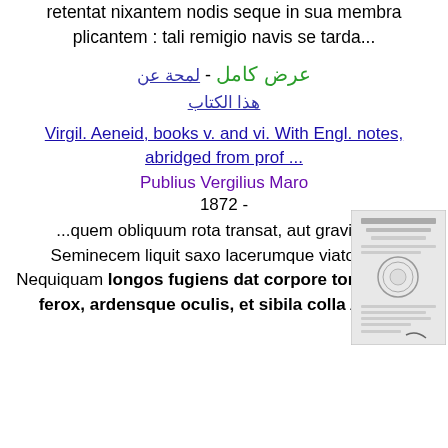retentat nixantem nodis seque in sua membra plicantem : tali remigio navis se tarda...
عرض كامل - لمحة عن هذا الكتاب
Virgil. Aeneid, books v. and vi. With Engl. notes, abridged from prof ...
Publius Vergilius Maro
1872 -
...quem obliquum rota transat, aut gravis ictu Seminecem liquit saxo lacerumque viator, 275 Nequiquam longos fugiens dat corpore tortus, Parte ferox, ardensque oculis, et sibila colla Arduus attollens : pars...
[Figure (photo): Small thumbnail image of a book cover or title page]